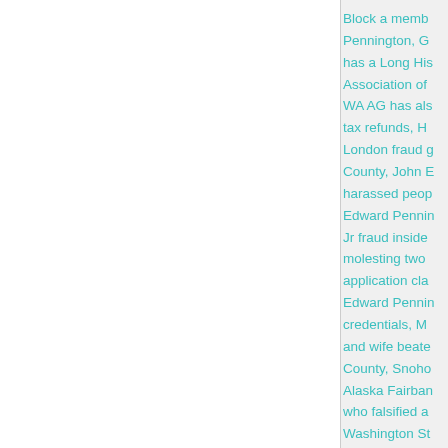Block a memb... Pennington, G... has a Long His... Association of... WA AG has als... tax refunds, H... London fraud g... County, John E... harassed peop... Edward Pennin... Jr fraud inside... molesting two... application cla... Edward Pennin... credentials, M... and wife beate... County, Snoho... Alaska Fairban... who falsified a... Washington St...